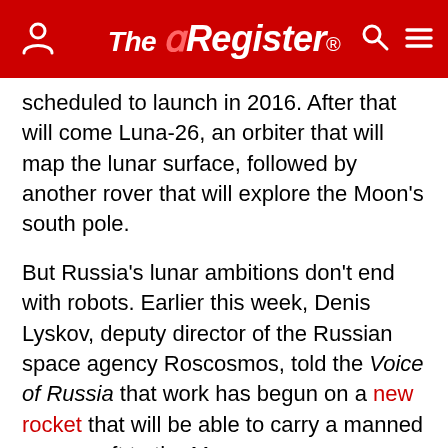The Register
scheduled to launch in 2016. After that will come Luna-26, an orbiter that will map the lunar surface, followed by another rover that will explore the Moon's south pole.
But Russia's lunar ambitions don't end with robots. Earlier this week, Denis Lyskov, deputy director of the Russian space agency Roscosmos, told the Voice of Russia that work has begun on a new rocket that that will be able to carry a manned spacecraft to the Moon.
"It requires a carrier rocket of extra-heavy class with carrying capacity of 80 tons to perform flights to the Moon," Lyskov said. "The program of such carrier rocket is being elaborated. The government has ordered to elaborate the program so that it could make a